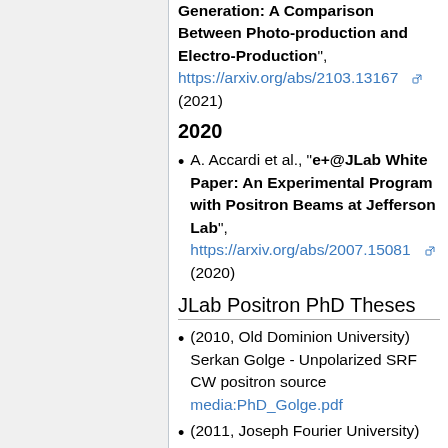Generation: A Comparison Between Photo-production and Electro-Production", https://arxiv.org/abs/2103.13167 (2021)
2020
A. Accardi et al., "e+@JLab White Paper: An Experimental Program with Positron Beams at Jefferson Lab", https://arxiv.org/abs/2007.15081 (2020)
JLab Positron PhD Theses
(2010, Old Dominion University) Serkan Golge - Unpolarized SRF CW positron source media:PhD_Golge.pdf
(2011, Joseph Fourier University)